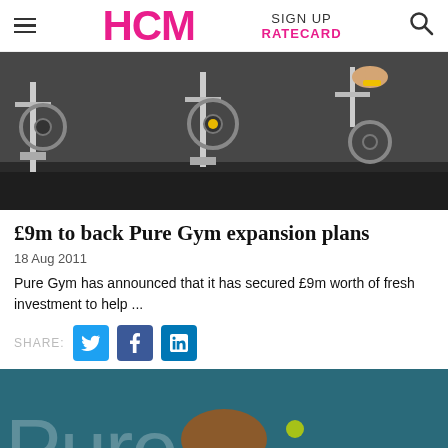HCM | SIGN UP | RATECARD
[Figure (photo): Overhead view of spinning bikes in a gym with people cycling]
£9m to back Pure Gym expansion plans
18 Aug 2011
Pure Gym has announced that it has secured £9m worth of fresh investment to help ...
SHARE: [Twitter] [Facebook] [LinkedIn]
[Figure (photo): Man standing in front of a Pure Gym branded teal background with the Pure Gym logo visible]